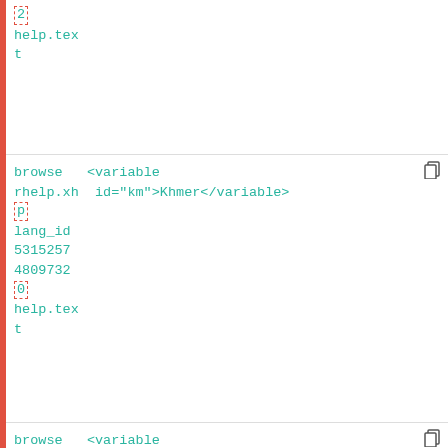2
help.text
| browse rhelp.xh p lang_id 5315257 4809732 0 help.text | <variable id="km">Khmer</variable> |
| browse rhelp.xh p lang_id 6415257 4810023 | <variable id="ko">Korean</variable> |